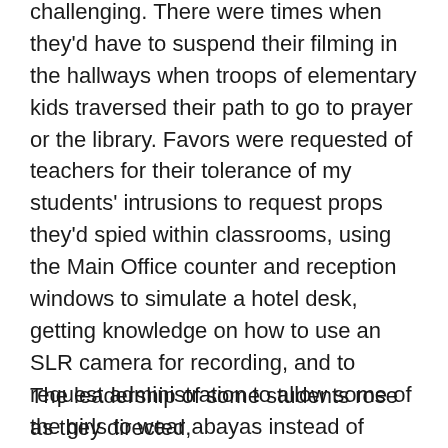challenging. There were times when they'd have to suspend their filming in the hallways when troops of elementary kids traversed their path to go to prayer or the library. Favors were requested of teachers for their tolerance of my students' intrusions to request props they'd spied within classrooms, using the Main Office counter and reception windows to simulate a hotel desk, getting knowledge on how to use an SLR camera for recording, and to request administration to allow some of the girls to wear abayas instead of school uniforms to speed up getting into costume each day. At times, I'd wondered if they'd be able to make the deadline I'd set the day before my final day there, but I saw the overall happiness, true engagement, and ownership the students invested in their projects.
The leadership of some students rose as they directed,